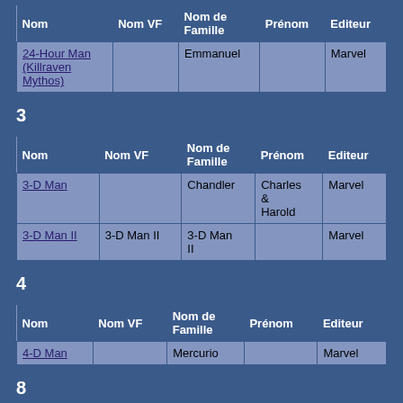| Nom | Nom VF | Nom de Famille | Prénom | Editeur |
| --- | --- | --- | --- | --- |
| 24-Hour Man (Killraven Mythos) |  | Emmanuel |  | Marvel |
3
| Nom | Nom VF | Nom de Famille | Prénom | Editeur |
| --- | --- | --- | --- | --- |
| 3-D Man |  | Chandler | Charles & Harold | Marvel |
| 3-D Man II | 3-D Man II | 3-D Man II |  | Marvel |
4
| Nom | Nom VF | Nom de Famille | Prénom | Editeur |
| --- | --- | --- | --- | --- |
| 4-D Man |  | Mercurio |  | Marvel |
8